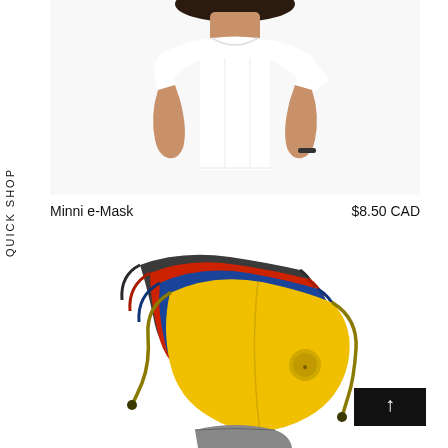[Figure (photo): Person wearing a white t-shirt, cropped to show torso and partial face/hair]
QUICK SHOP
Minni e-Mask    $8.50 CAD
[Figure (photo): Stack of colorful face masks (charcoal, red, blue, yellow) with ties, and a grey mask below]